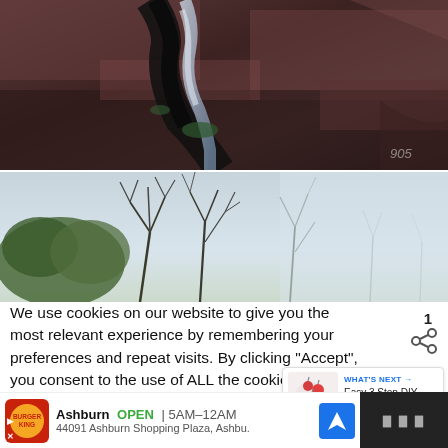[Figure (photo): Close-up aerial or macro photograph of dark reddish-brown rock with a narrow water stream or waterfall running through a crevice, with some green moss visible. A watermark '905' or similar is visible in lower right.]
[Figure (photo): Photograph looking up at bare winter trees against a light sky, trees are leafless with many fine branches silhouetted against a pale grey-blue sky.]
We use cookies on our website to give you the most relevant experience by remembering your preferences and repeat visits. By clicking “Accept”, you consent to the use of ALL the cookies.
Do not sell my personal information.
WHAT'S NEXT →
Easy 3 Step DIY Curl...
[Figure (photo): Small thumbnail image showing DIY curl product or craft item with red elements on white background.]
Ashburn  OPEN | 5AM–12AM
44091 Ashburn Shopping Plaza, Ashbu.